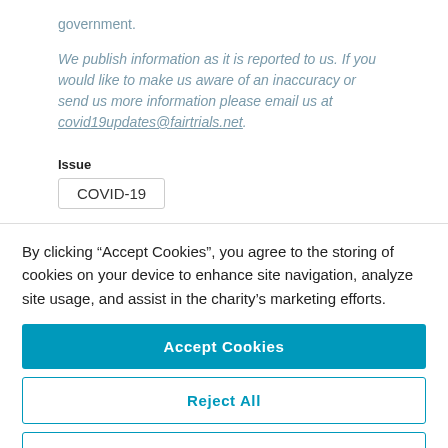government.
We publish information as it is reported to us. If you would like to make us aware of an inaccuracy or send us more information please email us at covid19updates@fairtrials.net.
Issue
COVID-19
By clicking “Accept Cookies”, you agree to the storing of cookies on your device to enhance site navigation, analyze site usage, and assist in the charity’s marketing efforts.
Accept Cookies
Reject All
Cookies Settings